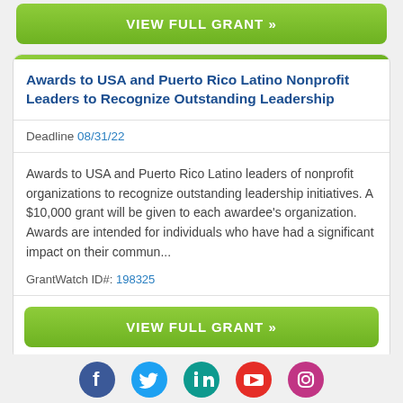VIEW FULL GRANT »
Awards to USA and Puerto Rico Latino Nonprofit Leaders to Recognize Outstanding Leadership
Deadline 08/31/22
Awards to USA and Puerto Rico Latino leaders of nonprofit organizations to recognize outstanding leadership initiatives. A $10,000 grant will be given to each awardee's organization. Awards are intended for individuals who have had a significant impact on their commun...
GrantWatch ID#: 198325
VIEW FULL GRANT »
[Figure (infographic): Social media icons row: Facebook (blue), Twitter (light blue), LinkedIn (teal), YouTube (red), Instagram (pink/purple)]